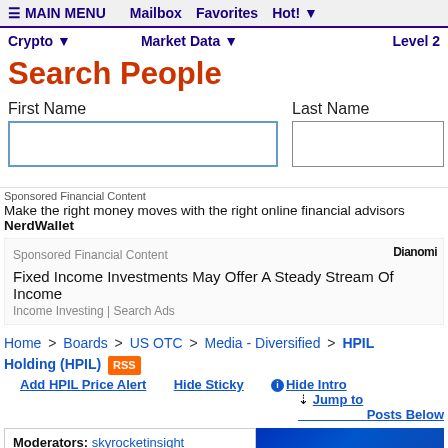≡ MAIN MENU   Mailbox   Favorites   Hot!
Crypto ▾   Market Data ▾   Level 2
Search People
First Name   Last Name
Sponsored Financial Content
Make the right money moves with the right online financial advisors NerdWallet
Sponsored Financial Content
Fixed Income Investments May Offer A Steady Stream Of Income
Income Investing | Search Ads
Home > Boards > US OTC > Media - Diversified > HPIL Holding (HPIL) RSS
Add HPIL Price Alert
Hide Sticky
ℹ Hide Intro
↓ Jump to Posts Below
Moderators: skyrocketinsight , 2HaveKnowledge , Homebrew , Ricosauve ,
[Figure (screenshot): InvestorsHub advertisement banner with blue background showing 'SEE ALL THE']